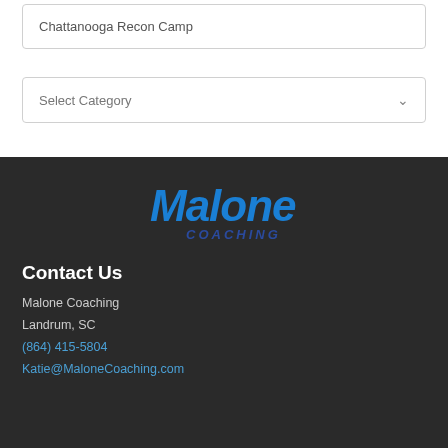Chattanooga Recon Camp
Select Category
[Figure (logo): Malone Coaching logo with 'Malone' in large blue italic text and 'COACHING' in smaller dark blue text below]
Contact Us
Malone Coaching
Landrum, SC
(864) 415-5804
Katie@MaloneCoaching.com